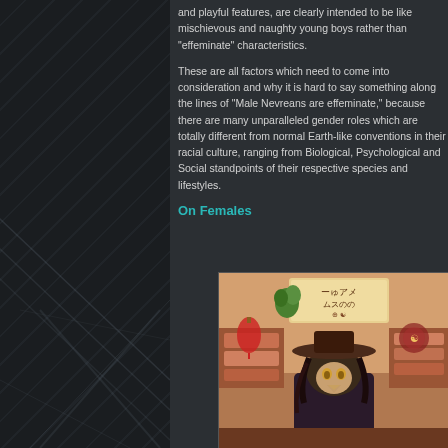and playful features, are clearly intended to be like mischievous and naughty young boys rather than "effeminate" characteristics.
These are all factors which need to come into consideration and why it is hard to say something along the lines of "Male Nevreans are effeminate," because there are many unparalleled gender roles which are totally different from normal Earth-like conventions in their racial culture, ranging from Biological, Psychological and Social standpoints of their respective species and lifestyles.
On Females
[Figure (illustration): Anime-style illustration of a bird-like humanoid character (Nevrean) wearing a wide-brimmed hat, standing in front of a fantasy shop/market stall with decorative signs and colorful goods on display.]